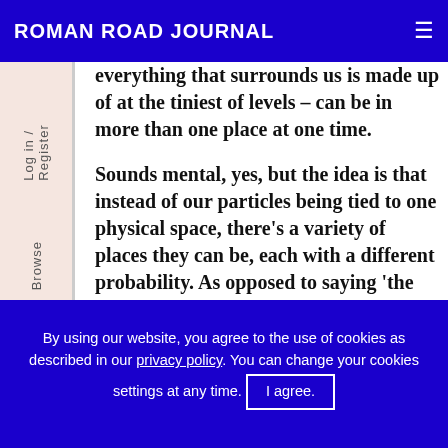ROMAN ROAD JOURNAL
everything that surrounds us is made up of at the tiniest of levels – can be in more than one place at one time.
Sounds mental, yes, but the idea is that instead of our particles being tied to one physical space, there's a variety of places they can be, each with a different probability. As opposed to saying 'the particle could be here or could be there', we describe them as being in all those multiple places at the same time. The uncertainty
By using our website, you agree to the use of cookies as described in our privacy policy. You can change your cookies settings at any time. I agree.